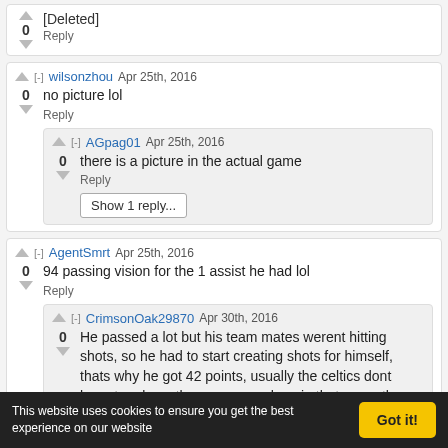[Deleted] — partial comment, vote 0, Reply
wilsonzhou Apr 25th, 2016 — no picture lol — Reply
AGpag01 Apr 25th, 2016 — there is a picture in the actual game — Reply — Show 1 reply...
AgentSmrt Apr 25th, 2016 — 94 passing vision for the 1 assist he had lol — Reply
CrimsonOak29870 Apr 30th, 2016 — He passed a lot but his team mates werent hitting shots, so he had to start creating shots for himself, thats why he got 42 points, usually the celtics dont have to rely on thomas as much as in that game tho, and usually gets a lot more assists when the other guys make shots
This website uses cookies to ensure you get the best experience on our website — Got it!